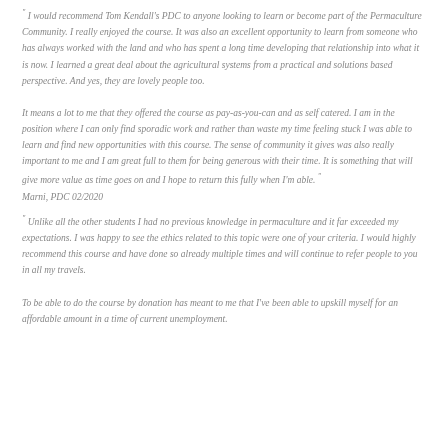" I would recommend Tom Kendall's PDC to anyone looking to learn or become part of the Permaculture Community. I really enjoyed the course. It was also an excellent opportunity to learn from someone who has always worked with the land and who has spent a long time developing that relationship into what it is now. I learned a great deal about the agricultural systems from a practical and solutions based perspective. And yes, they are lovely people too.
It means a lot to me that they offered the course as pay-as-you-can and as self catered. I am in the position where I can only find sporadic work and rather than waste my time feeling stuck I was able to learn and find new opportunities with this course. The sense of community it gives was also really important to me and I am great full to them for being generous with their time. It is something that will give more value as time goes on and I hope to return this fully when I'm able. "
Marni, PDC 02/2020
" Unlike all the other students I had no previous knowledge in permaculture and it far exceeded my expectations. I was happy to see the ethics related to this topic were one of your criteria. I would highly recommend this course and have done so already multiple times and will continue to refer people to you in all my travels.
To be able to do the course by donation has meant to me that I've been able to upskill myself for an affordable amount in a time of current unemployment.